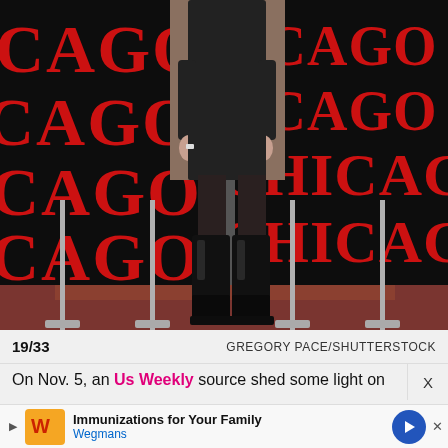[Figure (photo): Photo of a person wearing a black outfit and black knee-high patent leather boots, standing in front of Chicago the Musical promotional banners on both sides. The banners are black with large red stylized 'CHICAGO' text. The floor appears to be a red carpet/platform. Photo credit: Gregory Pace/Shutterstock.]
19/33
GREGORY PACE/SHUTTERSTOCK
On Nov. 5, an Us Weekly source shed some light on
Immunizations for Your Family
Wegmans